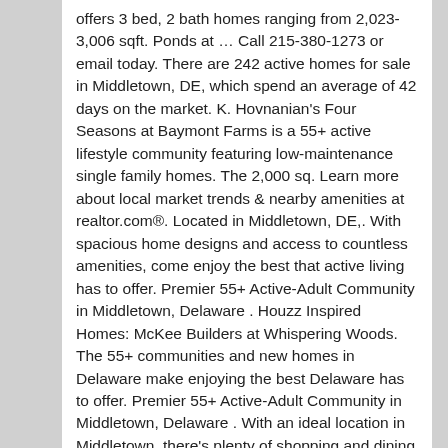offers 3 bed, 2 bath homes ranging from 2,023-3,006 sqft. Ponds at … Call 215-380-1273 or email today. There are 242 active homes for sale in Middletown, DE, which spend an average of 42 days on the market. K. Hovnanian's Four Seasons at Baymont Farms is a 55+ active lifestyle community featuring low-maintenance single family homes. The 2,000 sq. Learn more about local market trends & nearby amenities at realtor.com®. Located in Middletown, DE,. With spacious home designs and access to countless amenities, come enjoy the best that active living has to offer. Premier 55+ Active-Adult Community in Middletown, Delaware . Houzz Inspired Homes: McKee Builders at Whispering Woods. The 55+ communities and new homes in Delaware make enjoying the best Delaware has to offer. Premier 55+ Active-Adult Community in Middletown, Delaware . With an ideal location in Middletown, there's plenty of shopping and dining nearby to explore. … This classic small town offers a wide variety of places to go and things to do just minutes from your front door.. The Preserve at Deep Creek 55+ is a new community in Middletown, DE by Ryan Homes. Delaware's Premier New Home Builder Started in 1975. New Homes in Middletown's Growing Communities Following a period of expansion, Middletown's population has nearly tripled since the turn of the century. With